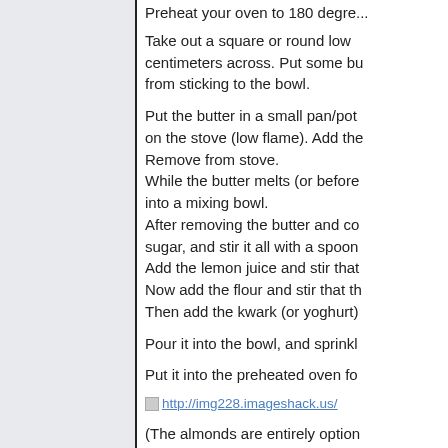Preheat your oven to 180 degrees...
Take out a square or round low ... centimeters across. Put some bu... from sticking to the bowl.
Put the butter in a small pan/pot... on the stove (low flame). Add the... Remove from stove.
While the butter melts (or before... into a mixing bowl.
After removing the butter and co... sugar, and stir it all with a spoon...
Add the lemon juice and stir that...
Now add the flour and stir that th...
Then add the kwark (or yoghurt)...
Pour it into the bowl, and sprinkl...
Put it into the preheated oven fo...
[Figure (other): Broken image link: http://img228.imageshack.us/...]
(The almonds are entirely option... add chunks of them through the... top. It would also be possible to... of cocoa powder)
**Will put up a picture next time...